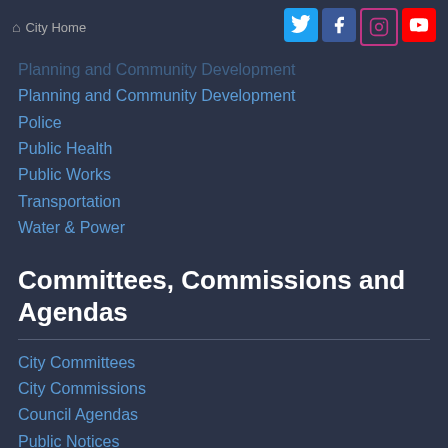City Home
Planning and Community Development
Police
Public Health
Public Works
Transportation
Water & Power
Committees, Commissions and Agendas
City Committees
City Commissions
Council Agendas
Public Notices
Programs & Divisions